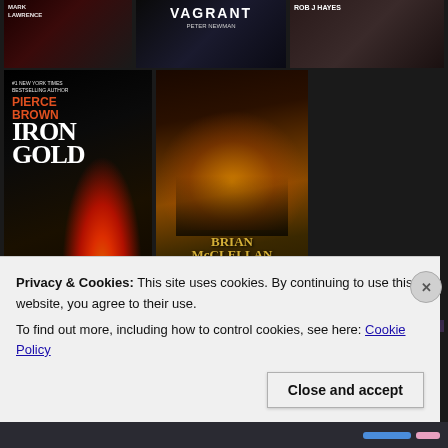[Figure (photo): Screenshot of a fantasy book recommendation website showing a grid of fantasy book covers including: Row 1 (partial, top): Mark Lawrence book, 'The Vagrant' by Peter Newman, Rob J. Hayes book. Row 2: 'Iron Gold' by Pierce Brown, 'Sins of Empire' by Brian McClellan. Row 3 (partial): Brandon Sanderson book, 'The Blinding Knife', 'The Well of Ascension'. Overlaid with a cookie consent banner reading 'Privacy & Cookies: This site uses cookies. By continuing to use this website, you agree to their use. To find out more, including how to control cookies, see here: Cookie Policy' with a 'Close and accept' button.]
Privacy & Cookies: This site uses cookies. By continuing to use this website, you agree to their use.
To find out more, including how to control cookies, see here: Cookie Policy
Close and accept